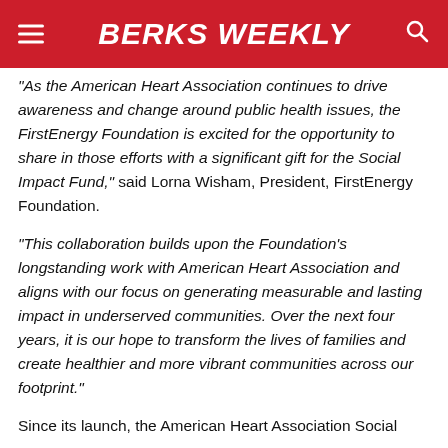BERKS WEEKLY
“As the American Heart Association continues to drive awareness and change around public health issues, the FirstEnergy Foundation is excited for the opportunity to share in those efforts with a significant gift for the Social Impact Fund,” said Lorna Wisham, President, FirstEnergy Foundation.
“This collaboration builds upon the Foundation’s longstanding work with American Heart Association and aligns with our focus on generating measurable and lasting impact in underserved communities. Over the next four years, it is our hope to transform the lives of families and create healthier and more vibrant communities across our footprint.”
Since its launch, the American Heart Association Social